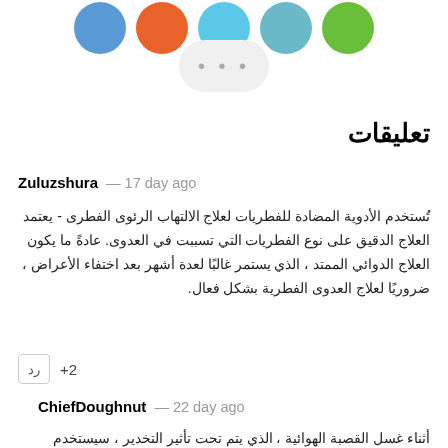[Figure (illustration): Row of five social sharing icon circles: blue, orange, light blue, teal, green — partially cut off at top]
[Figure (illustration): Light gray rounded pill button with three gray dots (more/share options button)]
تعليقات
Zuluzshura – 17 day ago
تُستخدم الأدوية المضادة للفطريات لعلاج الالتهاب الرئوى الفطرى - يعتمد العلاج الدقيق على نوع الفطريات التي تسببت في العدوى. عادةً ما يكون العلاج الدوائي الممتد ، الذي يستمر غالبًا لعدة أشهر بعد اختفاء الأعراض ، ضروريًا لعلاج العدوى الفطرية بشكل فعال.
+2  رد
ChiefDoughnut – 22 day ago
أثناء غسل القصبة الهوائية ، الذي يتم تحت تأثير التخدير ، سيستخدم